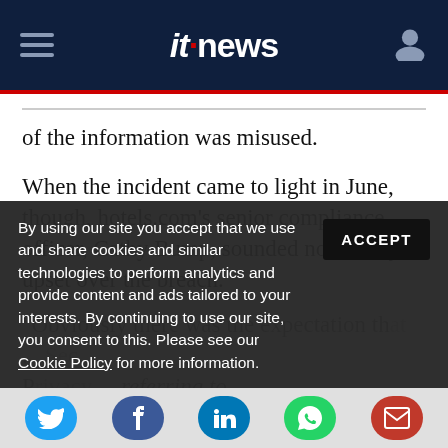itnews
of the information was misused.
When the incident came to light in June, though, hotels.com's senior compliance officer, Cathy Bump, sounded noticeably upset over the breach.
"Obviously there was the expectation that ... [text continues] ... referring to
By using our site you accept that we use and share cookies and similar technologies to perform analytics and provide content and ads tailored to your interests. By continuing to use our site, you consent to this. Please see our Cookie Policy for more information.